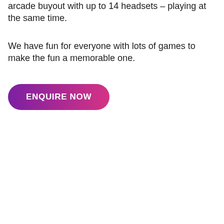arcade buyout with up to 14 headsets – playing at the same time.
We have fun for everyone with lots of games to make the fun a memorable one.
ENQUIRE NOW